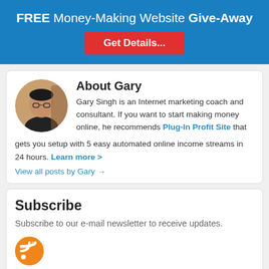FREE Money-Making Website Give-Away
Get Details...
About Gary
Gary Singh is an Internet marketing coach and consultant. If you want to start making money online, he recommends Plug-In Profit Site that gets you setup with 5 easy automated online income streams in 24 hours. Learn more >
View all posts by Gary →
Subscribe
Subscribe to our e-mail newsletter to receive updates.
Related Posts: